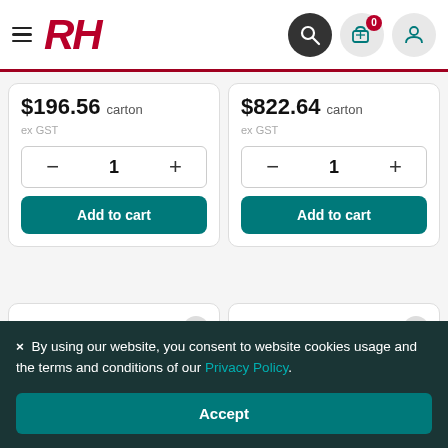[Figure (screenshot): RH website header with hamburger menu, RH logo in red italic, search icon (dark circle), cart icon with badge showing 0, and user profile icon]
$196.56 carton
ex GST
$822.64 carton
ex GST
Add to cart
Add to cart
× By using our website, you consent to website cookies usage and the terms and conditions of our Privacy Policy.
Accept